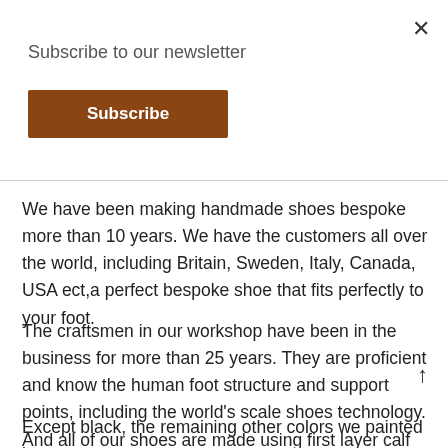×
Subscribe to our newsletter
Subscribe
We have been making handmade shoes bespoke more than 10 years. We have the customers all over the world, including Britain, Sweden, Italy, Canada, USA ect,a perfect bespoke shoe that fits perfectly to your foot.
The craftsmen in our workshop have been in the business for more than 25 years. They are proficient and know the human foot structure and support points, including the world's scale shoes technology. And all of our shoes are made using first layer calf leather and hand coloring. We will provide you with exclusive offers and unique services
Except black, the remaining other colors we painted by